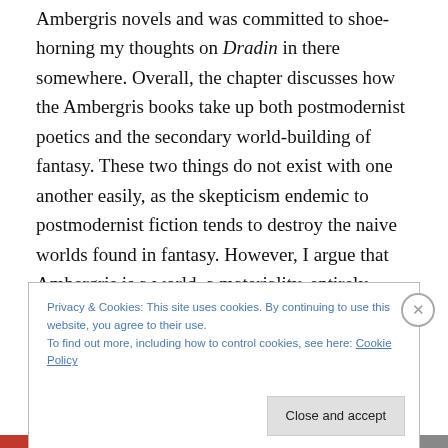Ambergris novels and was committed to shoe-horning my thoughts on Dradin in there somewhere. Overall, the chapter discusses how the Ambergris books take up both postmodernist poetics and the secondary world-building of fantasy. These two things do not exist with one another easily, as the skepticism endemic to postmodernist fiction tends to destroy the naive worlds found in fantasy. However, I argue that Ambergris is a world, a materiality, entirely made up of its textuality. Whereas in fictions such as House of Leaves, textuality becomes an abyss without a bottom into which characters and events might fall, in
Privacy & Cookies: This site uses cookies. By continuing to use this website, you agree to their use.
To find out more, including how to control cookies, see here: Cookie Policy